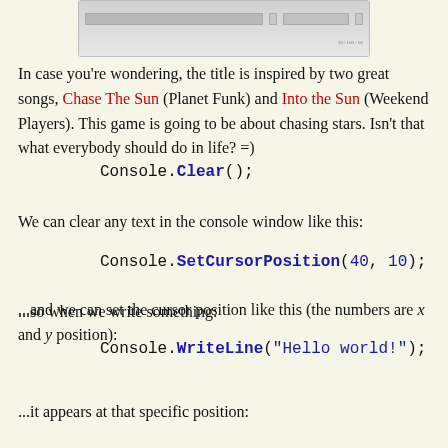[Figure (screenshot): Partial screenshot of a console/IDE window showing some UI elements]
In case you're wondering, the title is inspired by two great songs, Chase The Sun (Planet Funk) and Into the Sun (Weekend Players). This game is going to be about chasing stars. Isn't that what everybody should do in life? =)
We can clear any text in the console window like this:
Console.Clear();
...and we can set the cursor position like this (the numbers are x and y position):
Console.SetCursorPosition(40, 10);
...so when we write something:
Console.WriteLine("Hello world!");
...it appears at that specific position: